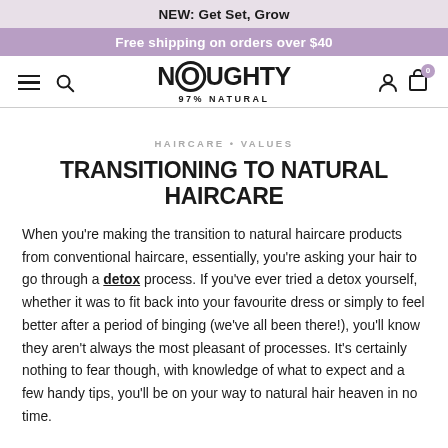NEW: Get Set, Grow
Free shipping on orders over $40
NOUGHTY 97% NATURAL
HAIRCARE • VALUES
TRANSITIONING TO NATURAL HAIRCARE
When you're making the transition to natural haircare products from conventional haircare, essentially, you're asking your hair to go through a detox process. If you've ever tried a detox yourself, whether it was to fit back into your favourite dress or simply to feel better after a period of binging (we've all been there!), you'll know they aren't always the most pleasant of processes. It's certainly nothing to fear though, with knowledge of what to expect and a few handy tips, you'll be on your way to natural hair heaven in no time.